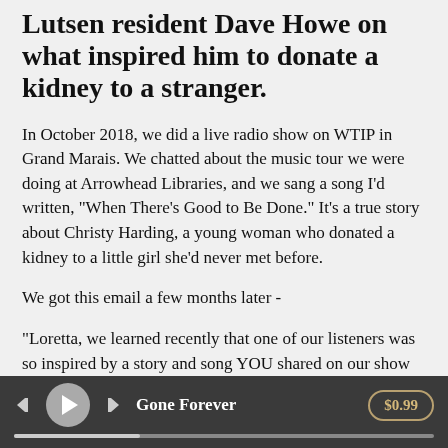Lutsen resident Dave Howe on what inspired him to donate a kidney to a stranger.
In October 2018, we did a live radio show on WTIP in Grand Marais. We chatted about the music tour we were doing at Arrowhead Libraries, and we sang a song I'd written, "When There's Good to Be Done." It's a true story about Christy Harding, a young woman who donated a kidney to a little girl she'd never met before.
We got this email a few months later -
"Loretta, we learned recently that one of our listeners was so inspired by a story and song YOU shared on our show that he actually donated a kidney to a stranger. So amazing and wonderful!! Here's the link to the interview with him; thought you'd like to hear his story:
Gone Forever  $0.99